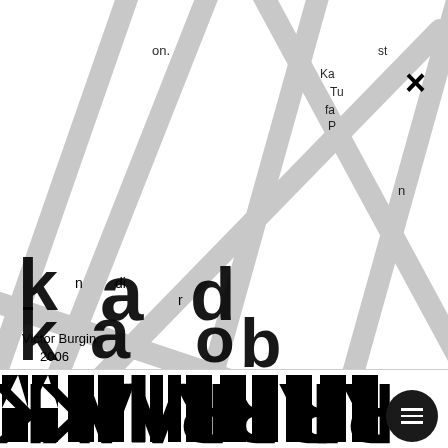[Figure (illustration): Abstract graphic design cover with overlapping diagonal gray diagonal bands/lines crossing over white background, with fragmented black text characters (letters/glyphs) visible beneath and around the bands, creating a typographic abstract composition. A bold X mark appears in upper right.]
Victor Burgin
2006
[Figure (illustration): Footer area with large bold stylized black letterforms/glyphs in a display font, forming an abstract typographic band across the bottom of the page. A circular black menu button with three horizontal white lines appears at far right.]